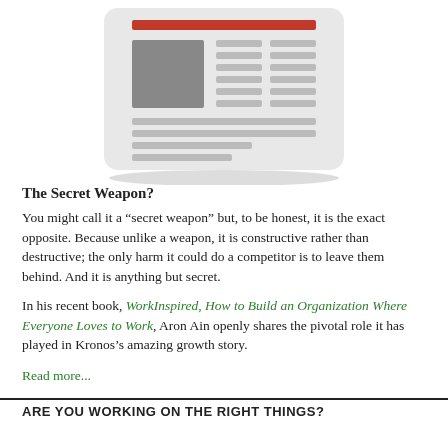[Figure (illustration): Newspaper icon illustration showing a stylized newspaper with a red header bar, a gray square image placeholder on the left, and horizontal gray lines representing text columns on the right and bottom. The newspaper has rounded corners and a shadow beneath it.]
The Secret Weapon?
You might call it a “secret weapon” but, to be honest, it is the exact opposite. Because unlike a weapon, it is constructive rather than destructive; the only harm it could do a competitor is to leave them behind. And it is anything but secret.
In his recent book, WorkInspired, How to Build an Organization Where Everyone Loves to Work, Aron Ain openly shares the pivotal role it has played in Kronos’s amazing growth story.
Read more...
ARE YOU WORKING ON THE RIGHT THINGS?